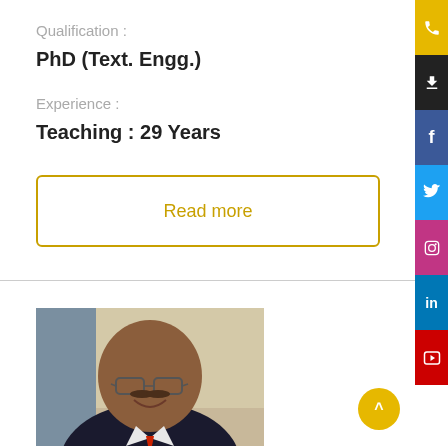Qualification :
PhD (Text. Engg.)
Experience :
Teaching : 29 Years
Read more
[Figure (photo): Portrait photo of a middle-aged bald man wearing glasses, a dark suit jacket and red tie, smiling at the camera.]